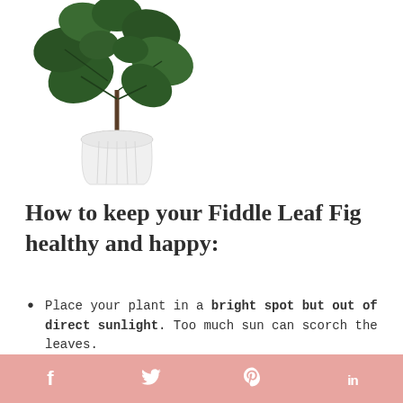[Figure (illustration): A fiddle leaf fig plant with large dark green leaves in a white ribbed ceramic pot, shown on a white background.]
How to keep your Fiddle Leaf Fig healthy and happy:
Place your plant in a bright spot but out of direct sunlight. Too much sun can scorch the leaves.
f  [twitter bird]  p  in